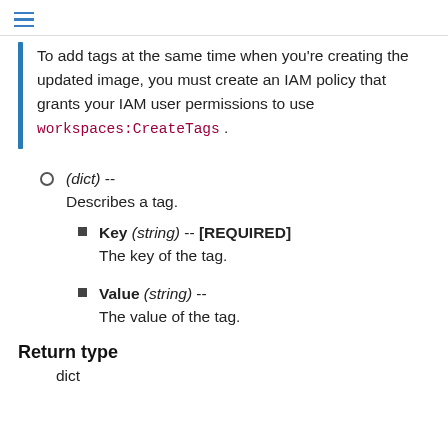To add tags at the same time when you're creating the updated image, you must create an IAM policy that grants your IAM user permissions to use workspaces:CreateTags .
(dict) -- Describes a tag.
Key (string) -- [REQUIRED] The key of the tag.
Value (string) -- The value of the tag.
Return type
dict